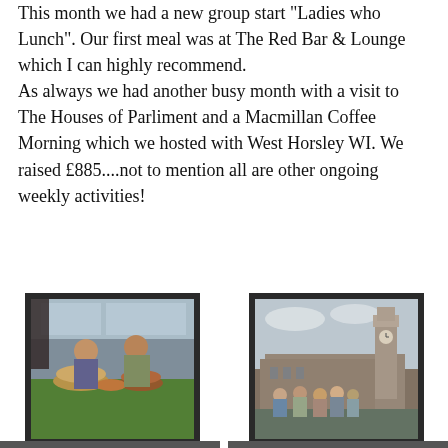This month we had a new group start "Ladies who Lunch". Our first meal was at The Red Bar & Lounge which I can highly recommend.
As always we had another busy month with a visit to The Houses of Parliment and a Macmillan Coffee Morning which we hosted with West Horsley WI. We raised £885....not to mention all are other ongoing weekly activities!
[Figure (photo): Photo of women at a Macmillan Coffee Morning event with cakes on a table]
Joint Venture
Macmillan Coffee Morning hosted by Butterflies & West Horsley WI
[Figure (photo): Photo of a group of women posing in front of the Houses of Parliament with Big Ben in the background]
Houses of P...